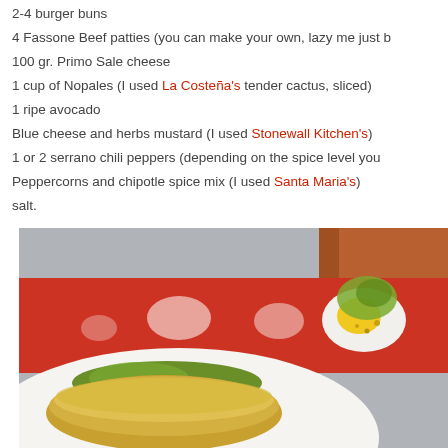2-4 burger buns
4 Fassone Beef patties (you can make your own, lazy me just b...
100 gr. Primo Sale cheese
1 cup of Nopales (I used La Costeña's tender cactus, sliced)
1 ripe avocado
Blue cheese and herbs mustard (I used Stonewall Kitchen's)
1 or 2 serrano chili peppers (depending on the spice level you...
Peppercorns and chipotle spice mix (I used Santa Maria's)
salt.
[Figure (photo): Close-up photo of a burger with a yellow cheese-topped bun, green guacamole, a burger patty, a fried egg with green cactus topping, on a white plate. Red patterned tablecloth in the background.]